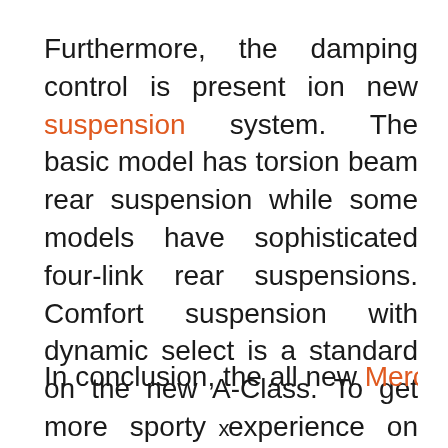Furthermore, the damping control is present ion new suspension system. The basic model has torsion beam rear suspension while some models have sophisticated four-link rear suspensions. Comfort suspension with dynamic select is a standard on the new A-Class. To get more sporty experience on the road, you can purposely lower down the comfort suspension.
In conclusion, the all new Mercedes-Benz A